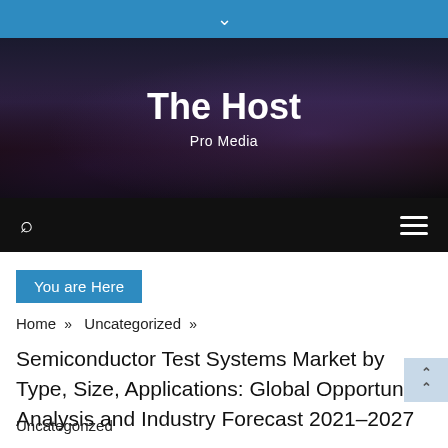▾
[Figure (photo): Dark starry night sky with mountains silhouette and purple nebula clouds — hero banner background]
The Host
Pro Media
[Figure (other): Black navigation bar with search icon (magnifying glass) on the left and hamburger menu icon on the right]
You are Here
Home » Uncategorized »
Semiconductor Test Systems Market by Type, Size, Applications: Global Opportunity Analysis and Industry Forecast 2021–2027
Uncategorized